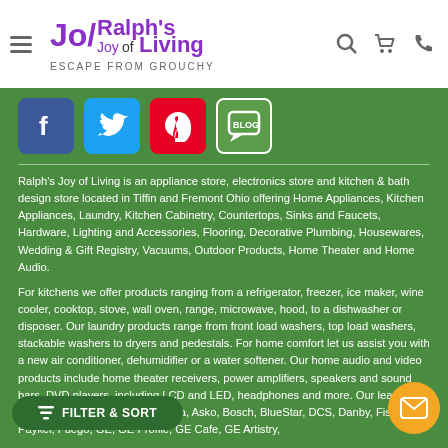[Figure (logo): Ralph's Joy of Living logo with tagline 'Escape from Grouchy']
[Figure (infographic): Social media icons: Facebook, Twitter, Pinterest, Blog/Chat]
Ralph's Joy of Living is an appliance store, electronics store and kitchen & bath design store located in Tiffin and Fremont Ohio offering Home Appliances, Kitchen Appliances, Laundry, Kitchen Cabinetry, Countertops, Sinks and Faucets, Hardware, Lighting and Accessories, Flooring, Decorative Plumbing, Housewares, Wedding & Gift Registry, Vacuums, Outdoor Products, Home Theater and Home Audio.
For kitchens we offer products ranging from a refrigerator, freezer, ice maker, wine cooler, cooktop, stove, wall oven, range, microwave, hood, to a dishwasher or disposer. Our laundry products range from front load washers, top load washers, stackable washers to dryers and pedestals. For home comfort let us assist you with a new air conditioner, dehumidifier or a water softener. Our home audio and video products include home theater receivers, power amplifiers, speakers and sound bars, DVD players, including LCD and LED, headphones and more. Our leading brands these products are Amana, Asko, Bosch, BlueStar, DCS, Danby, Fisher Paykel, Fuego, GE, GE Profile, GE Cafe, GE Artistry,